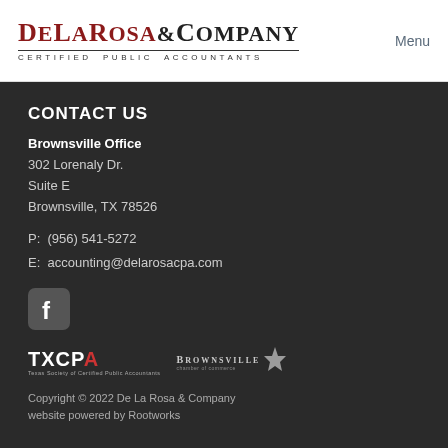[Figure (logo): De La Rosa & Company Certified Public Accountants logo with red and black lettering]
Menu
CONTACT US
Brownsville Office
302 Lorenaly Dr.
Suite E
Brownsville, TX 78526
P:  (956) 541-5272
E:  accounting@delarosacpa.com
[Figure (logo): Facebook icon logo]
[Figure (logo): TXCPA Texas Society of Certified Public Accountants logo and Brownsville Chamber of Commerce logo]
Copyright © 2022 De La Rosa & Company
website powered by Rootworks